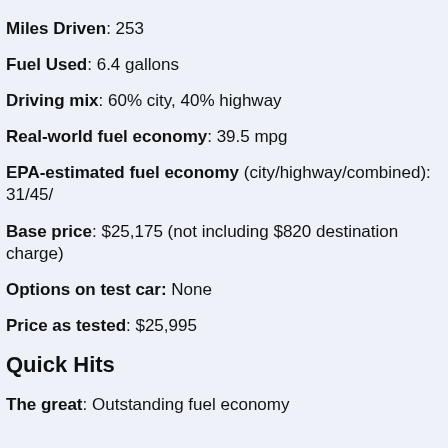Miles Driven: 253
Fuel Used: 6.4 gallons
Driving mix: 60% city, 40% highway
Real-world fuel economy: 39.5 mpg
EPA-estimated fuel economy (city/highway/combined): 31/45/
Base price: $25,175 (not including $820 destination charge)
Options on test car: None
Price as tested: $25,995
Quick Hits
The great: Outstanding fuel economy